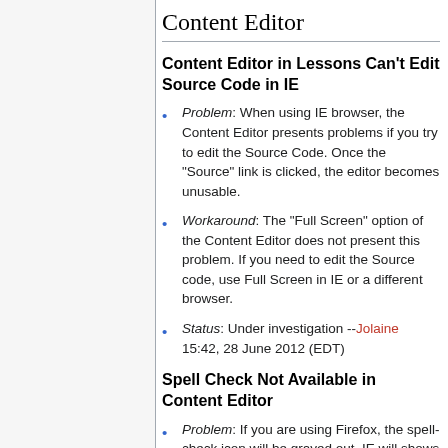Content Editor
Content Editor in Lessons Can't Edit Source Code in IE
Problem: When using IE browser, the Content Editor presents problems if you try to edit the Source Code. Once the "Source" link is clicked, the editor becomes unusable.
Workaround: The "Full Screen" option of the Content Editor does not present this problem. If you need to edit the Source code, use Full Screen in IE or a different browser.
Status: Under investigation --Jolaine 15:42, 28 June 2012 (EDT)
Spell Check Not Available in Content Editor
Problem: If you are using Firefox, the spell-check icon will be grayed out. IE will shows icon but will prompt for a IE plugin.